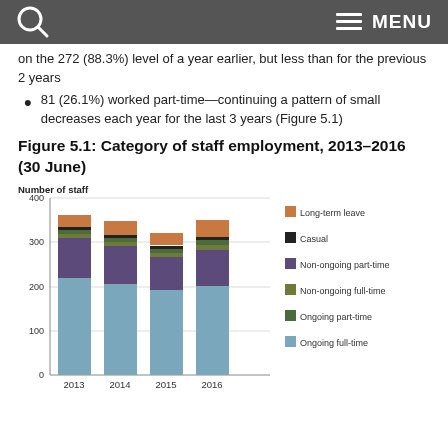MENU
on the 272 (88.3%) level of a year earlier, but less than for the previous 2 years
81 (26.1%) worked part-time—continuing a pattern of small decreases each year for the last 3 years (Figure 5.1)
Figure 5.1: Category of staff employment, 2013–2016 (30 June)
[Figure (stacked-bar-chart): Figure 5.1: Category of staff employment, 2013–2016 (30 June)]